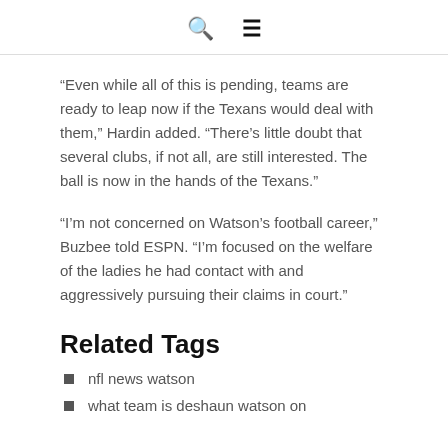🔍 ≡
“Even while all of this is pending, teams are ready to leap now if the Texans would deal with them,” Hardin added. “There’s little doubt that several clubs, if not all, are still interested. The ball is now in the hands of the Texans.”
“I’m not concerned on Watson’s football career,” Buzbee told ESPN. “I’m focused on the welfare of the ladies he had contact with and aggressively pursuing their claims in court.”
Related Tags
nfl news watson
what team is deshaun watson on